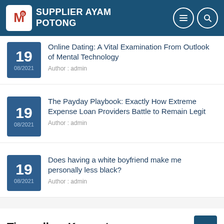SUPPLIER AYAM POTONG
Online Dating: A Vital Examination From Outlook of Mental Technology
Author : admin
19 08/2021
The Payday Playbook: Exactly How Extreme Expense Loan Providers Battle to Remain Legit
Author : admin
19 08/2021
Does having a white boyfriend make me personally less black?
Author : admin
19 08/2021
Tinggalkan Komentar